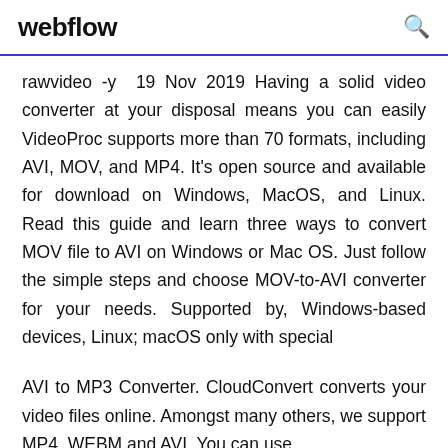webflow
rawvideo -y  19 Nov 2019 Having a solid video converter at your disposal means you can easily VideoProc supports more than 70 formats, including AVI, MOV, and MP4. It's open source and available for download on Windows, MacOS, and Linux. Read this guide and learn three ways to convert MOV file to AVI on Windows or Mac OS. Just follow the simple steps and choose MOV-to-AVI converter for your needs. Supported by, Windows-based devices, Linux; macOS only with special
AVI to MP3 Converter. CloudConvert converts your video files online. Amongst many others, we support MP4, WEBM and AVI. You can use